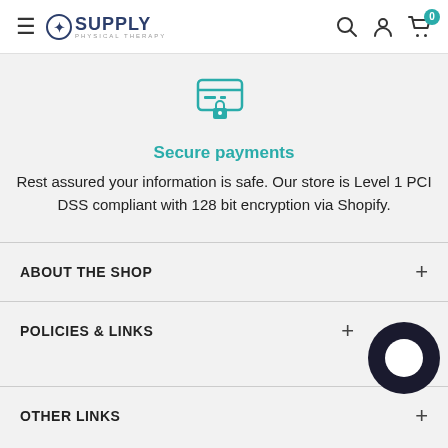SUPPLY — navigation header with hamburger menu, logo, search, account, and cart icons
[Figure (illustration): Teal icon of a credit card with a lock padlock symbol, representing secure payments]
Secure payments
Rest assured your information is safe. Our store is Level 1 PCI DSS compliant with 128 bit encryption via Shopify.
ABOUT THE SHOP
POLICIES & LINKS
OTHER LINKS